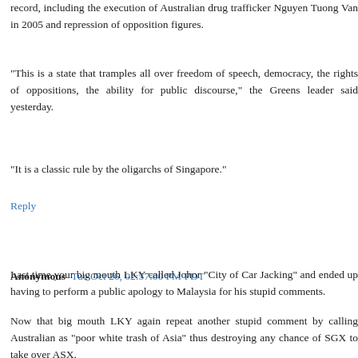record, including the execution of Australian drug trafficker Nguyen Tuong Van in 2005 and repression of opposition figures.
"This is a state that tramples all over freedom of speech, democracy, the rights of oppositions, the ability for public discourse," the Greens leader said yesterday.
"It is a classic rule by the oligarchs of Singapore."
Reply
Anonymous  Tue Oct 26, 02:57:00 PM PDT
Last time your big mouth LKY called Johor "City of Car Jacking" and ended up having to perform a public apology to Malaysia for his stupid comments.
Now that big mouth LKY again repeat another stupid comment by calling Australian as "poor white trash of Asia" thus destroying any chance of SGX to take over ASX.
Why your big mouth LKY not learn from his shameful Johor